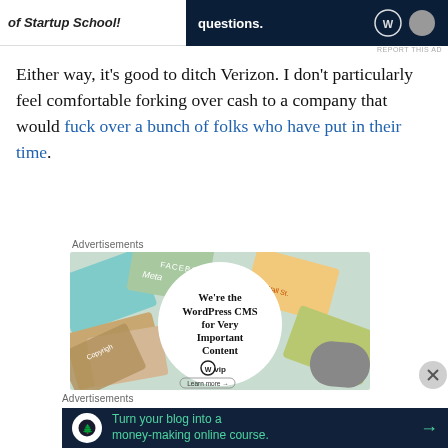[Figure (screenshot): Top advertisement banner with text 'of Startup School!' on left and dark navy background with text 'questions.' on right]
Either way, it’s good to ditch Verizon. I don’t particularly feel comfortable forking over cash to a company that would fuck over a bunch of folks who have put in their time.
Advertisements
[Figure (screenshot): WordPress VIP advertisement showing a white circle with text 'We’re the WordPress CMS for Very Important Content' with WP VIP logo and 'Learn more' button, surrounded by colorful branded cards]
Advertisements
[Figure (screenshot): Dark navy advertisement banner: 'Turn your blog into a money-making online course.' with green text and arrow]